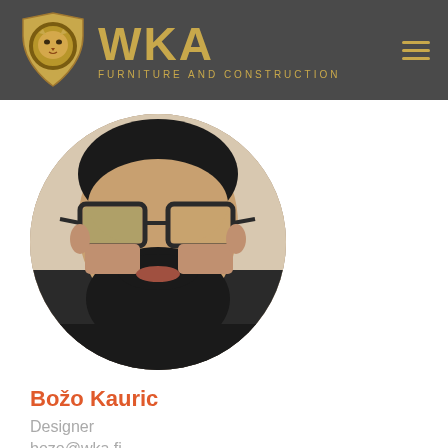[Figure (logo): WKA Furniture and Construction logo with lion shield emblem on dark gray header background]
[Figure (photo): Circular cropped profile photo of a bearded man wearing dark-framed glasses]
Božo Kauric
Designer
bozo@wka.fi
+385 99 588 9045